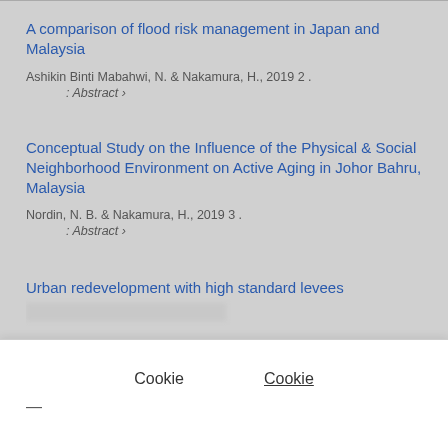A comparison of flood risk management in Japan and Malaysia
Ashikin Binti Mabahwi, N. & Nakamura, H., 2019 2 .
: Abstract ›
Conceptual Study on the Influence of the Physical & Social Neighborhood Environment on Active Aging in Johor Bahru, Malaysia
Nordin, N. B. & Nakamura, H., 2019 3 .
: Abstract ›
Urban redevelopment with high standard levees along Tokyo's Arakawa River
Cookie
Cookie